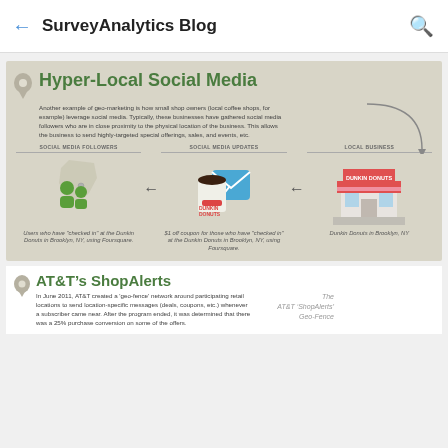SurveyAnalytics Blog
[Figure (infographic): Hyper-Local Social Media infographic showing flow from Social Media Followers (people who checked in at Dunkin Donuts Brooklyn NY using Foursquare) through Social Media Updates ($1 off coupon) to Local Business (Dunkin Donuts in Brooklyn NY), with icons and arrows]
Another example of geo-marketing is how small shop owners (local coffee shops, for example) leverage social media. Typically, these businesses have gathered social media followers who are in close proximity to the physical location of the business. This allows the business to send highly-targeted special offerings, sales, and events, etc.
Users who have "checked in" at the Dunkin Donuts in Brooklyn, NY, using Foursquare.
$1 off coupon for those who have "checked in" at the Dunkin Donuts in Brooklyn, NY, using Foursquare.
Dunkin Donuts in Brooklyn, NY
AT&T's ShopAlerts
In June 2011, AT&T created a 'geo-fence' network around participating retail locations to send location-specific messages (deals, coupons, etc.) whenever a subscriber came near. After the program ended, it was determined that there was a 25% purchase conversion on some of the offers.
The AT&T 'ShopAlerts' Geo-Fence